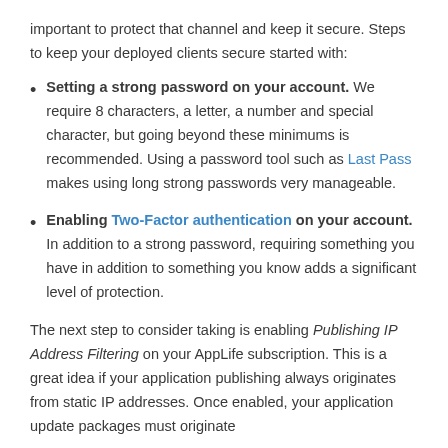important to protect that channel and keep it secure. Steps to keep your deployed clients secure started with:
Setting a strong password on your account. We require 8 characters, a letter, a number and special character, but going beyond these minimums is recommended. Using a password tool such as Last Pass makes using long strong passwords very manageable.
Enabling Two-Factor authentication on your account. In addition to a strong password, requiring something you have in addition to something you know adds a significant level of protection.
The next step to consider taking is enabling Publishing IP Address Filtering on your AppLife subscription. This is a great idea if your application publishing always originates from static IP addresses. Once enabled, your application update packages must originate